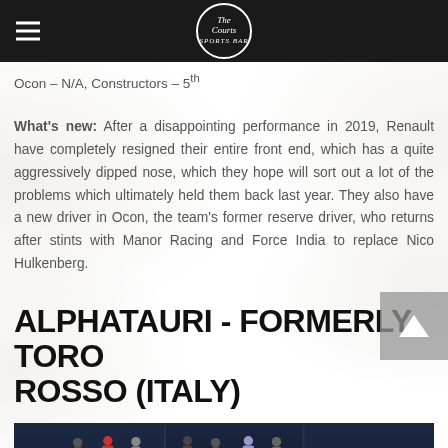The Courts Sports Bar (logo) - navigation header
Ocon – N/A, Constructors – 5th
What's new: After a disappointing performance in 2019, Renault have completely resigned their entire front end, which has a quite aggressively dipped nose, which they hope will sort out a lot of the problems which ultimately held them back last year. They also have a new driver in Ocon, the team's former reserve driver, who returns after stints with Manor Racing and Force India to replace Nico Hulkenberg.
ALPHATAURI - FORMERLY TORO ROSSO (ITALY)
[Figure (photo): Group of people standing in a dark blue lit event space, appears to be a team launch or press event for AlphaTauri F1 team]